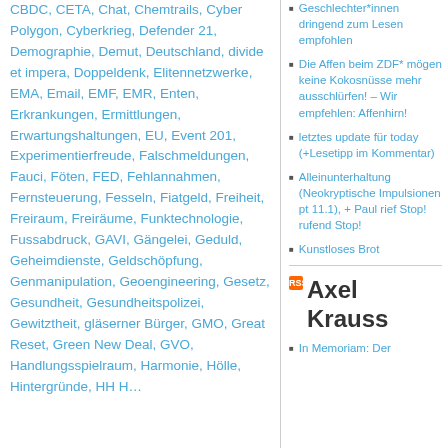CBDC, CETA, Chat, Chemtrails, Cyber Polygon, Cyberkrieg, Defender 21, Demographie, Demut, Deutschland, divide et impera, Doppeldenk, Elitennetzwerke, EMA, Email, EMF, EMR, Enten, Erkrankungen, Ermittlungen, Erwartungshaltungen, EU, Event 201, Experimentierfreude, Falschmeldungen, Fauci, Föten, FED, Fehlannahmen, Fernsteuerung, Fesseln, Fiatgeld, Freiheit, Freiraum, Freiräume, Funktechnologie, Fussabdruck, GAVI, Gängelei, Geduld, Geheimdienste, Geldschöpfung, Genmanipulation, Geoengineering, Gesetz, Gesundheit, Gesundheitspolizei, Gewitztheit, gläserner Bürger, GMO, Great Reset, Green New Deal, GVO, Handlungsspielraum, Harmonie, Hölle, Hintergründe, HH, H…
Geschlechter*innen dringend zum Lesen empfohlen
Die Affen beim ZDF* mögen keine Kokosnüsse mehr ausschlürfen! – Wir empfehlen: Affenhirn!
letztes update für today (+Lesetipp im Kommentar)
Alleinunterhaltung (Neokryptische Impulsionen pt 11.1), + Paul rief Stop! rufend Stop!
Kunstloses Brot
Axel Krauss
In Memoriam: Der